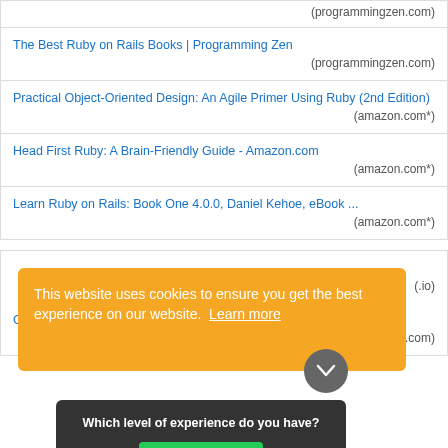The Best Ruby on Rails Books | Programming Zen (programmingzen.com)
Practical Object-Oriented Design: An Agile Primer Using Ruby (2nd Edition) (amazon.com*)
Head First Ruby: A Brain-Friendly Guide - Amazon.com (amazon.com*)
Learn Ruby on Rails: Book One 4.0.0, Daniel Kehoe, eBook ... (amazon.com*)
[Figure (screenshot): Cookie consent banner overlay on orange background reading 'This website uses cookies to ensure you get the best experience on our website. Learn more' with a survey popup asking 'Which level of experience do you have?' and a green Reply button]